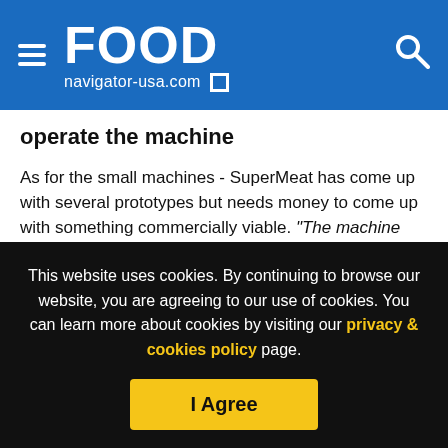FOOD navigator-usa.com
operate the machine
As for the small machines - SuperMeat has come up with several prototypes but needs money to come up with something commercially viable. “The machine needs electricity, it needs to connect to the water supply, it needs heat, as it is an incubator, and end users will have to insert the capsule [of tissue] and nutrient powders.”
But no real expertize will be needed on the part of the end
This website uses cookies. By continuing to browse our website, you are agreeing to our use of cookies. You can learn more about cookies by visiting our privacy & cookies policy page.
I Agree